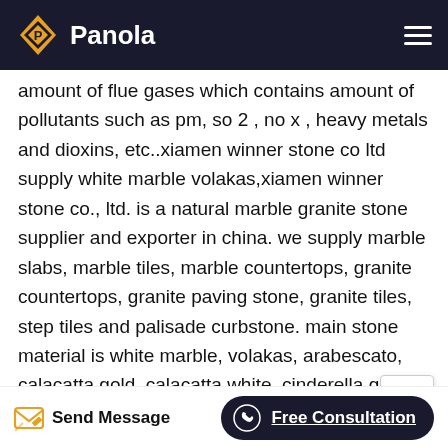Panola
amount of flue gases which contains amount of pollutants such as pm, so 2 , no x , heavy metals and dioxins, etc..xiamen winner stone co ltd supply white marble volakas,xiamen winner stone co., ltd. is a natural marble granite stone supplier and exporter in china. we supply marble slabs, marble tiles, marble countertops, granite countertops, granite paving stone, granite tiles, step tiles and palisade curbstone. main stone material is white marble, volakas, arabescato, calacatta gold, calacatta white, cinderella grey marble, light grey granite g602, g603 ...
Preparation Technologies For Metallurgy Eirich Machines
7 2 000 liters 12 000 liters mixer type capacity may
Send Message  Free Consultation